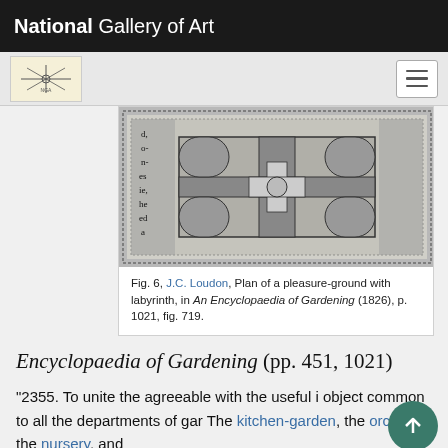National Gallery of Art
[Figure (screenshot): Navigation bar with NGA star logo and hamburger menu button on a gray background]
[Figure (photo): Black and white engraving showing J.C. Loudon's Plan of a pleasure-ground with labyrinth, a formal garden layout viewed from above with geometric patterns and pathways]
Fig. 6, J.C. Loudon, Plan of a pleasure-ground with labyrinth, in An Encyclopaedia of Gardening (1826), p. 1021, fig. 719.
Encyclopaedia of Gardening (pp. 451, 1021)
"2355. To unite the agreeable with the useful i object common to all the departments of gar The kitchen-garden, the orchard, the nursery, and